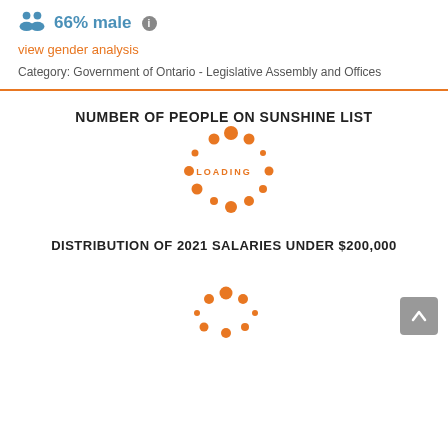66% male
view gender analysis
Category: Government of Ontario - Legislative Assembly and Offices
NUMBER OF PEOPLE ON SUNSHINE LIST
[Figure (other): Loading spinner animation in orange dots arranged in a circle with LOADING text]
DISTRIBUTION OF 2021 SALARIES UNDER $200,000
[Figure (other): Loading spinner animation in orange dots arranged in a circle]